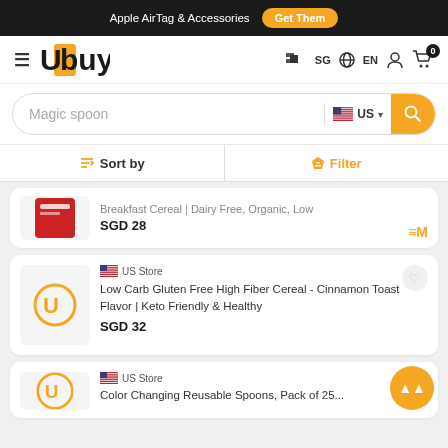Apple AirTag & Accessories  Get Them
[Figure (logo): Ubuy logo with orange background on U letters]
Magic spoon  US  Search
Sort by  Filter
Breakfast Cereal | Dairy Free, Organic, Low
SGD 28
US Store
Low Carb Gluten Free High Fiber Cereal - Cinnamon Toast Flavor | Keto Friendly & Healthy
SGD 32
US Store
Color Changing Reusable Spoons, Pack of 25...